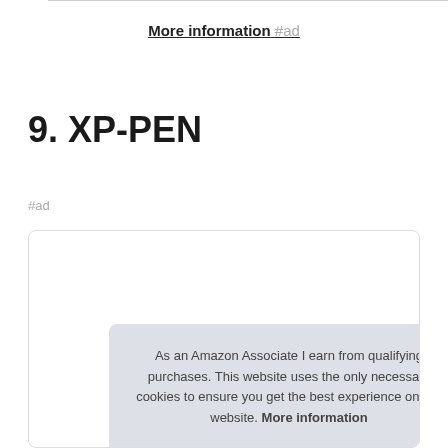More information #ad
9. XP-PEN
#ad
As an Amazon Associate I earn from qualifying purchases. This website uses the only necessary cookies to ensure you get the best experience on our website. More information